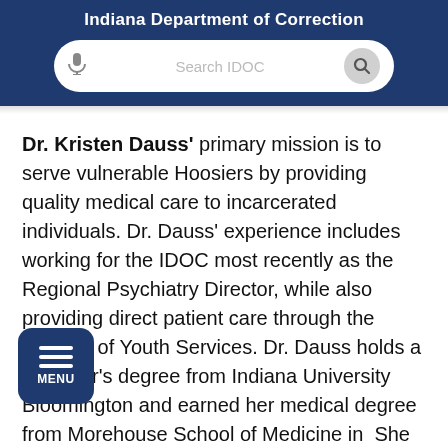Indiana Department of Correction
[Figure (screenshot): Search bar with microphone icon and search button on dark blue header background]
Dr. Kristen Dauss' primary mission is to serve vulnerable Hoosiers by providing quality medical care to incarcerated individuals. Dr. Dauss' experience includes working for the IDOC most recently as the Regional Psychiatry Director, while also providing direct patient care through the Division of Youth Services. Dr. Dauss holds a bachelor's degree from Indiana University Bloomington and earned her medical degree from Morehouse School of Medicine in She completed triple board residency in iatrics, general psychiatry, and child psychiatry at Indiana University School of Medicine. Her experience allows Dr. Dauss the unique
[Figure (screenshot): Dark blue hamburger menu button with three horizontal lines and MENU label]